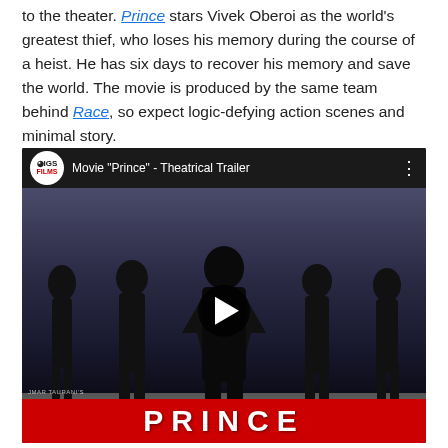to the theater. Prince stars Vivek Oberoi as the world's greatest thief, who loses his memory during the course of a heist. He has six days to recover his memory and save the world. The movie is produced by the same team behind Race, so expect logic-defying action scenes and minimal story.
[Figure (screenshot): YouTube video embed showing Movie 'Prince' - Theatrical Trailer. The thumbnail shows cast members dressed in black on a road with a dramatic sky. The PRINCE title appears in large letters at the bottom. The video is from IGS Films channel.]